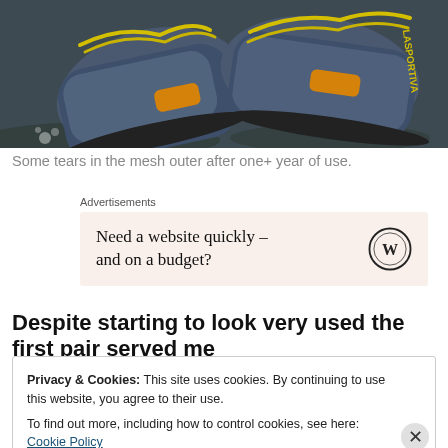[Figure (photo): Close-up photo of two La Sportiva hiking/trail shoes showing grey mesh upper with yellow laces and orange/yellow accents, placed on rocky ground.]
Some tears in the mesh outer after one+ year of use.
Advertisements
[Figure (other): Advertisement box with text: Need a website quickly – and on a budget? with WordPress logo.]
Despite starting to look very used the first pair served me
Privacy & Cookies: This site uses cookies. By continuing to use this website, you agree to their use.
To find out more, including how to control cookies, see here: Cookie Policy